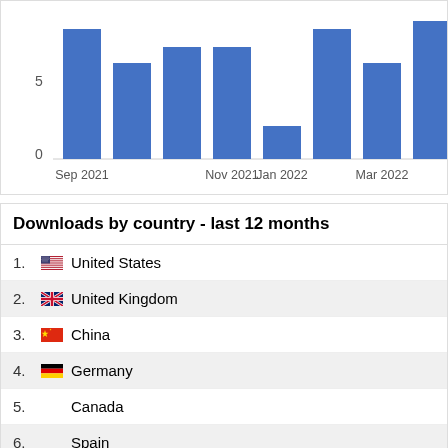[Figure (bar-chart): Downloads over time]
Downloads by country - last 12 months
1. United States
2. United Kingdom
3. China
4. Germany
5. Canada
6. Spain
7. France
8. Portugal
9. Russian Federation